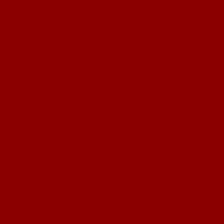/var/www/vhosts/wannabestables.nl/h
/var/www/vhosts/wannabestables.nl/h
Entity: line 21: parser error : Entity 'q'
Warning: SimpleXMLElement::__con
aug22&a;utm_content=120x240\&q;,
/var/www/vhosts/wannabestables.nl/h
/var/www/vhosts/wannabestables.nl/h
Entity: line 21: parser error : Entity 'q'
Warning: SimpleXMLElement::__con
aug22&a;utm_content=120x240\&q;,
/var/www/vhosts/wannabestables.nl/h
/var/www/vhosts/wannabestables.nl/h
Entity: line 21: parser error : Entity 'q'
Warning: SimpleXMLElement::__con
a;utm_content=120x240\&q;,\&q;sort
/var/www/vhosts/wannabestables.nl/h
/var/www/vhosts/wannabestables.nl/h
Entity: line 21: parser error : Entity 'q'
Warning: SimpleXMLElement::__con
content=120x240\&q;,\&q;sortPositio
/var/www/vhosts/wannabestables.nl/h
/var/www/vhosts/wannabestables.nl/hs
Entity: line 21: parser error : Opening
/var/www/vhosts/wannabestables.nl/h
q;,\&q;sortPosition\&q;:4,\&q;content